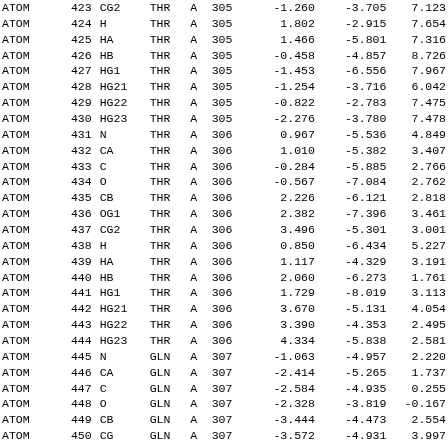| Type | Num | Name | Res | Chain | ResNum | X | Y | Z |
| --- | --- | --- | --- | --- | --- | --- | --- | --- |
| ATOM | 423 | CG2 | THR | A | 305 | -1.260 | -3.705 | 7.123 |
| ATOM | 424 | H | THR | A | 305 | 1.802 | -2.915 | 7.654 |
| ATOM | 425 | HA | THR | A | 305 | 1.466 | -5.801 | 7.316 |
| ATOM | 426 | HB | THR | A | 305 | -0.458 | -4.857 | 8.726 |
| ATOM | 427 | HG1 | THR | A | 305 | -1.453 | -6.556 | 7.967 |
| ATOM | 428 | HG21 | THR | A | 305 | -1.254 | -3.716 | 6.042 |
| ATOM | 429 | HG22 | THR | A | 305 | -0.822 | -2.783 | 7.475 |
| ATOM | 430 | HG23 | THR | A | 305 | -2.276 | -3.780 | 7.478 |
| ATOM | 431 | N | THR | A | 306 | 0.967 | -5.536 | 4.849 |
| ATOM | 432 | CA | THR | A | 306 | 1.010 | -5.382 | 3.407 |
| ATOM | 433 | C | THR | A | 306 | -0.284 | -5.885 | 2.766 |
| ATOM | 434 | O | THR | A | 306 | -0.567 | -7.084 | 2.762 |
| ATOM | 435 | CB | THR | A | 306 | 2.226 | -6.121 | 2.818 |
| ATOM | 436 | OG1 | THR | A | 306 | 2.382 | -7.396 | 3.461 |
| ATOM | 437 | CG2 | THR | A | 306 | 3.496 | -5.301 | 3.001 |
| ATOM | 438 | H | THR | A | 306 | 0.850 | -6.434 | 5.227 |
| ATOM | 439 | HA | THR | A | 306 | 1.117 | -4.329 | 3.191 |
| ATOM | 440 | HB | THR | A | 306 | 2.060 | -6.273 | 1.761 |
| ATOM | 441 | HG1 | THR | A | 306 | 1.729 | -8.019 | 3.113 |
| ATOM | 442 | HG21 | THR | A | 306 | 3.670 | -5.131 | 4.054 |
| ATOM | 443 | HG22 | THR | A | 306 | 3.390 | -4.353 | 2.495 |
| ATOM | 444 | HG23 | THR | A | 306 | 4.334 | -5.838 | 2.581 |
| ATOM | 445 | N | GLN | A | 307 | -1.063 | -4.957 | 2.220 |
| ATOM | 446 | CA | GLN | A | 307 | -2.414 | -5.265 | 1.737 |
| ATOM | 447 | C | GLN | A | 307 | -2.584 | -4.935 | 0.255 |
| ATOM | 448 | O | GLN | A | 307 | -2.328 | -3.819 | -0.167 |
| ATOM | 449 | CB | GLN | A | 307 | -3.444 | -4.473 | 2.554 |
| ATOM | 450 | CG | GLN | A | 307 | -3.572 | -4.931 | 3.997 |
| ATOM | 451 | CD | GLN | A | 307 | -4.187 | -6.313 | 4.130 |
| ATOM | 452 | OE1 | GLN | A | 307 | -4.035 | -7.170 | 3.258 |
| ATOM | 453 | NE2 | GLN | A | 307 | ... | ... | ... |